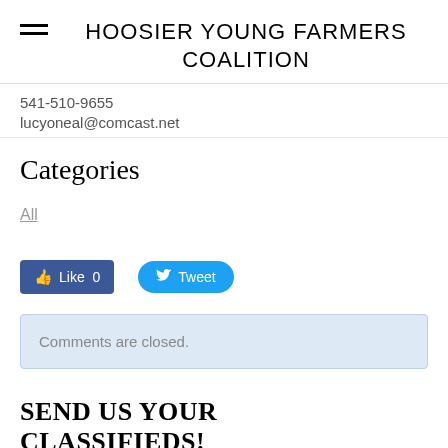HOOSIER YOUNG FARMERS COALITION
541-510-9655
lucyoneal@comcast.net
Categories
All
[Figure (other): Facebook Like button (0 likes) and Twitter Tweet button]
Comments are closed.
SEND US YOUR CLASSIFIEDS!
Everyone is welcome to post